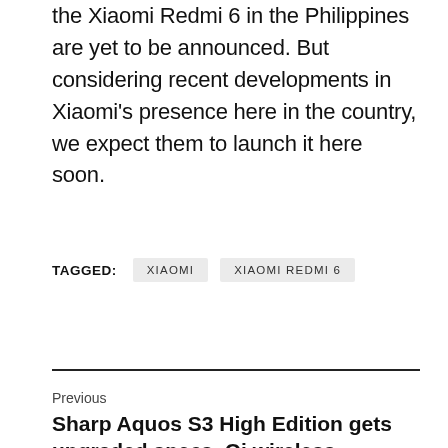the Xiaomi Redmi 6 in the Philippines are yet to be announced. But considering recent developments in Xiaomi's presence here in the country, we expect them to launch it here soon.
TAGGED: XIAOMI  XIAOMI REDMI 6
Previous
Sharp Aquos S3 High Edition gets upgraded specs, Qi wireless charging